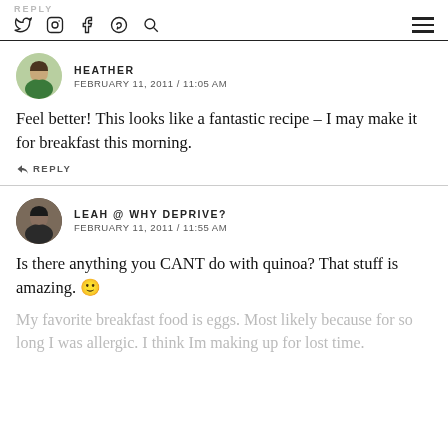REPLY
HEATHER
FEBRUARY 11, 2011 / 11:05 AM
Feel better! This looks like a fantastic recipe – I may make it for breakfast this morning.
↵ REPLY
LEAH @ WHY DEPRIVE?
FEBRUARY 11, 2011 / 11:55 AM
Is there anything you CANT do with quinoa? That stuff is amazing. 🙂
My favorite breakfast food is eggs. Most likely because for so long I was allergic. I think Im making up for lost time.